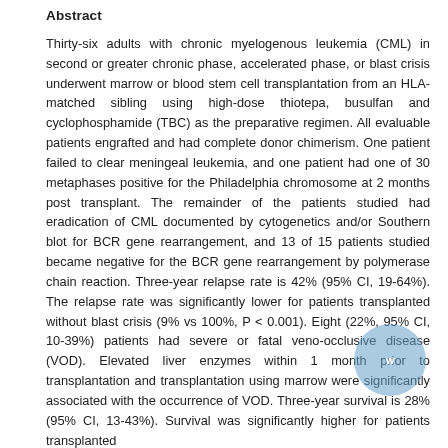Abstract
Thirty-six adults with chronic myelogenous leukemia (CML) in second or greater chronic phase, accelerated phase, or blast crisis underwent marrow or blood stem cell transplantation from an HLA-matched sibling using high-dose thiotepa, busulfan and cyclophosphamide (TBC) as the preparative regimen. All evaluable patients engrafted and had complete donor chimerism. One patient failed to clear meningeal leukemia, and one patient had one of 30 metaphases positive for the Philadelphia chromosome at 2 months post transplant. The remainder of the patients studied had eradication of CML documented by cytogenetics and/or Southern blot for BCR gene rearrangement, and 13 of 15 patients studied became negative for the BCR gene rearrangement by polymerase chain reaction. Three-year relapse rate is 42% (95% CI, 19-64%). The relapse rate was significantly lower for patients transplanted without blast crisis (9% vs 100%, P < 0.001). Eight (22%, 95% CI, 10-39%) patients had severe or fatal veno-occlusive disease (VOD). Elevated liver enzymes within 1 month prior to transplantation and transplantation using marrow were significantly associated with the occurrence of VOD. Three-year survival is 28% (95% CI, 13-43%). Survival was significantly higher for patients transplanted